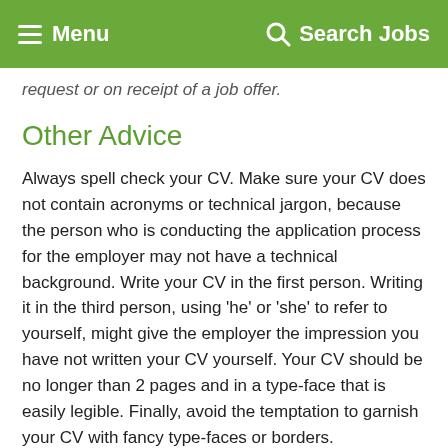Menu   Search Jobs
provided on request or on receipt of a job offer.
Other Advice
Always spell check your CV. Make sure your CV does not contain acronyms or technical jargon, because the person who is conducting the application process for the employer may not have a technical background. Write your CV in the first person. Writing it in the third person, using 'he' or 'she' to refer to yourself, might give the employer the impression you have not written your CV yourself. Your CV should be no longer than 2 pages and in a type-face that is easily legible. Finally, avoid the temptation to garnish your CV with fancy type-faces or borders.
If you would like further information about...